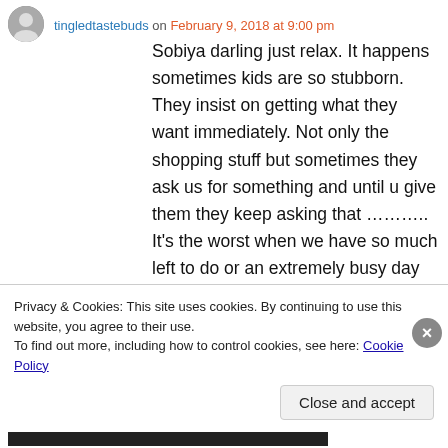tingledtastebuds on February 9, 2018 at 9:00 pm
Sobiya darling just relax. It happens sometimes kids are so stubborn. They insist on getting what they want immediately. Not only the shopping stuff but sometimes they ask us for something and until u give them they keep asking that ……….. It's the worst when we have so much left to do or an extremely busy day as yours. Calming just hug him and just cool him down. Rather than screaming at the kid we should just try to explain. My kiddo will not listen.
Privacy & Cookies: This site uses cookies. By continuing to use this website, you agree to their use.
To find out more, including how to control cookies, see here: Cookie Policy
Close and accept